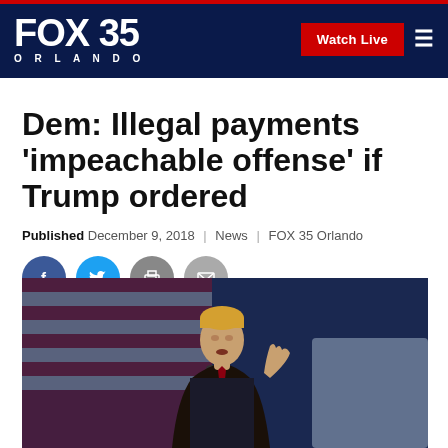FOX 35 ORLANDO | Watch Live
Dem: Illegal payments 'impeachable offense' if Trump ordered
Published December 9, 2018 | News | FOX 35 Orlando
[Figure (illustration): Social sharing icons: Facebook, Twitter, Print, Email]
[Figure (photo): Donald Trump speaking at a podium with American flag in background]